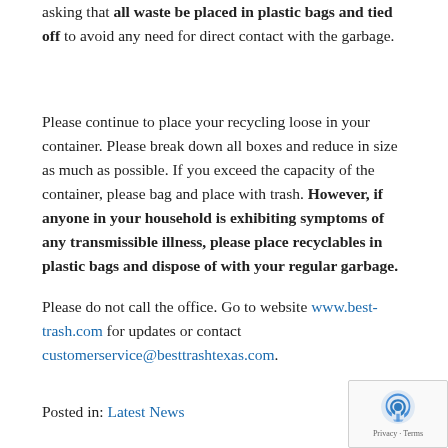asking that all waste be placed in plastic bags and tied off to avoid any need for direct contact with the garbage.
Please continue to place your recycling loose in your container. Please break down all boxes and reduce in size as much as possible. If you exceed the capacity of the container, please bag and place with trash. However, if anyone in your household is exhibiting symptoms of any transmissible illness, please place recyclables in plastic bags and dispose of with your regular garbage.
Please do not call the office. Go to website www.best-trash.com for updates or contact customerservice@besttrashtexas.com.
Posted in: Latest News